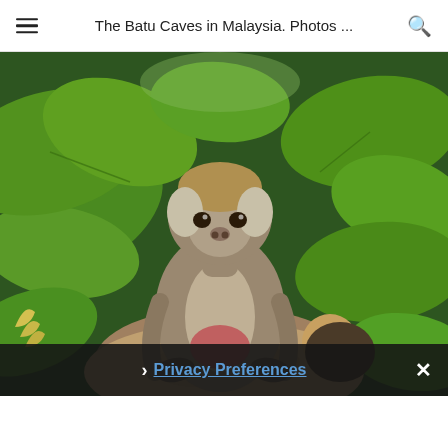The Batu Caves in Malaysia. Photos ...
[Figure (photo): A macaque monkey sitting on top of a large rock or another animal's head, surrounded by lush tropical green foliage and large leaves, at Batu Caves, Malaysia.]
Privacy Preferences